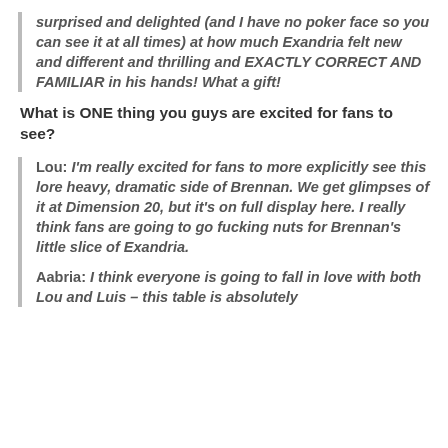surprised and delighted (and I have no poker face so you can see it at all times) at how much Exandria felt new and different and thrilling and EXACTLY CORRECT AND FAMILIAR in his hands! What a gift!
What is ONE thing you guys are excited for fans to see?
Lou: I'm really excited for fans to more explicitly see this lore heavy, dramatic side of Brennan. We get glimpses of it at Dimension 20, but it's on full display here. I really think fans are going to go fucking nuts for Brennan's little slice of Exandria.
Aabria: I think everyone is going to fall in love with both Lou and Luis – this table is absolutely